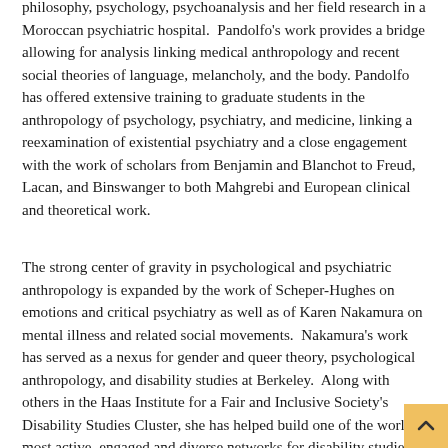philosophy, psychology, psychoanalysis and her field research in a Moroccan psychiatric hospital. Pandolfo's work provides a bridge allowing for analysis linking medical anthropology and recent social theories of language, melancholy, and the body. Pandolfo has offered extensive training to graduate students in the anthropology of psychology, psychiatry, and medicine, linking a reexamination of existential psychiatry and a close engagement with the work of scholars from Benjamin and Blanchot to Freud, Lacan, and Binswanger to both Mahgrebi and European clinical and theoretical work.
The strong center of gravity in psychological and psychiatric anthropology is expanded by the work of Scheper-Hughes on emotions and critical psychiatry as well as of Karen Nakamura on mental illness and related social movements. Nakamura's work has served as a nexus for gender and queer theory, psychological anthropology, and disability studies at Berkeley. Along with others in the Haas Institute for a Fair and Inclusive Society's Disability Studies Cluster, she has helped build one of the world's most active, engaged and diverse networks for disability studies.